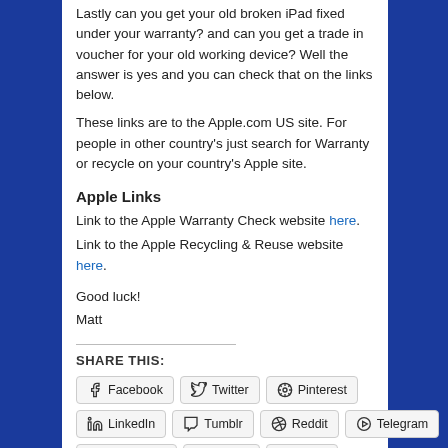Lastly can you get your old broken iPad fixed under your warranty? and can you get a trade in voucher for your old working device? Well the answer is yes and you can check that on the links below.
These links are to the Apple.com US site. For people in other country's just search for Warranty or recycle on your country's Apple site.
Apple Links
Link to the Apple Warranty Check website here.
Link to the Apple Recycling & Reuse website here.
Good luck!
Matt
SHARE THIS:
Facebook | Twitter | Pinterest | LinkedIn | Tumblr | Reddit | Telegram | WhatsApp | Skype | More